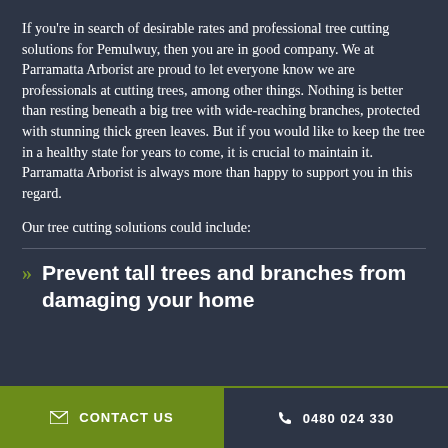If you're in search of desirable rates and professional tree cutting solutions for Pemulwuy, then you are in good company. We at Parramatta Arborist are proud to let everyone know we are professionals at cutting trees, among other things. Nothing is better than resting beneath a big tree with wide-reaching branches, protected with stunning thick green leaves. But if you would like to keep the tree in a healthy state for years to come, it is crucial to maintain it. Parramatta Arborist is always more than happy to support you in this regard.
Our tree cutting solutions could include:
Prevent tall trees and branches from damaging your home
✉ CONTACT US   ✆ 0480 024 330